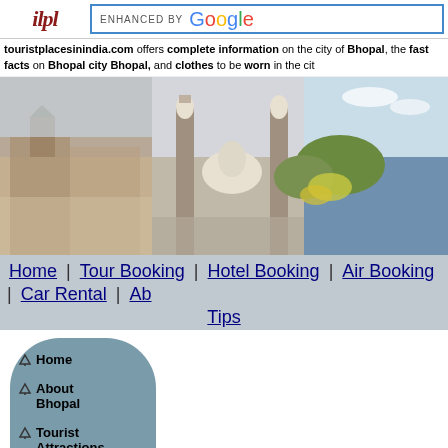ipl | ENHANCED BY Google
touristplacesinindia.com offers complete information on the city of Bhopal, the fast facts on Bhopal city Bhopal, and clothes to be worn in the city
[Figure (photo): Three panoramic photos of Bhopal: historic buildings, mosque/minar, and lake with greenery]
Home | Tour Booking | Hotel Booking | Air Booking | Car Rental | Ab... Tips
Home
About Bhopal
Tourist Attractions